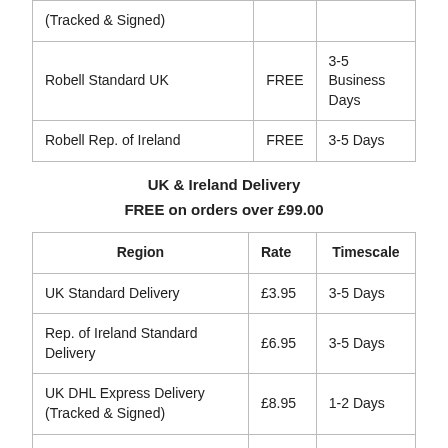| Region | Rate | Timescale |
| --- | --- | --- |
| (Tracked & Signed) |  |  |
| Robell Standard UK | FREE | 3-5 Business Days |
| Robell Rep. of Ireland | FREE | 3-5 Days |
UK & Ireland Delivery
FREE on orders over £99.00
| Region | Rate | Timescale |
| --- | --- | --- |
| UK Standard Delivery | £3.95 | 3-5 Days |
| Rep. of Ireland Standard Delivery | £6.95 | 3-5 Days |
| UK DHL Express Delivery (Tracked & Signed) | £8.95 | 1-2 Days |
| Rep. of Ireland Express Ireland | £10.95 | 1-2 Days |
| UK Parcelforce Express |  | 1-3 Business Days |